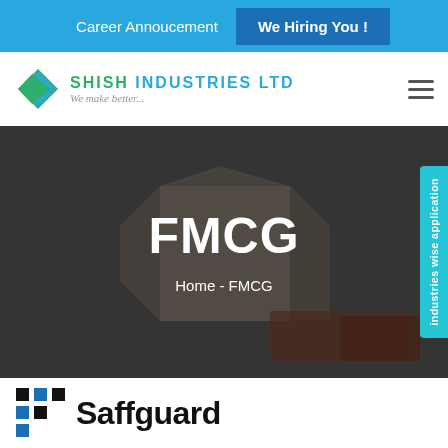Career Annoucement   We Hiring You !
[Figure (logo): Shish Industries Ltd logo with diamond S icon and tagline 'We make better...']
[Figure (photo): Hero banner with FMCG heading showing cardboard box and canned beverages on dark background]
FMCG
Home - FMCG
industries wise application
[Figure (logo): Saffguard logo with dot grid and bold text]